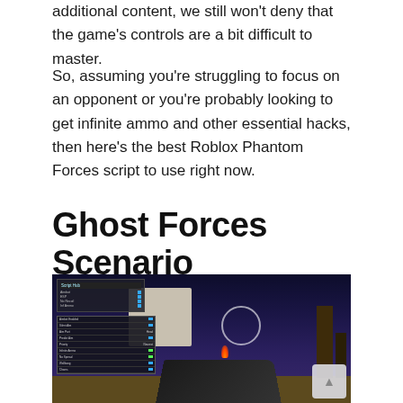additional content, we still won't deny that the game's controls are a bit difficult to master.
So, assuming you're struggling to focus on an opponent or you're probably looking to get infinite ammo and other essential hacks, then here's the best Roblox Phantom Forces script to use right now.
Ghost Forces Scenario
[Figure (screenshot): Screenshot of a Roblox Phantom Forces game showing a first-person shooter scene with script/hack UI panels on the left side, a nighttime environment with a large white structure and trees, a circular crosshair in the center, a weapon at the bottom, and a scrollback button at the bottom right.]